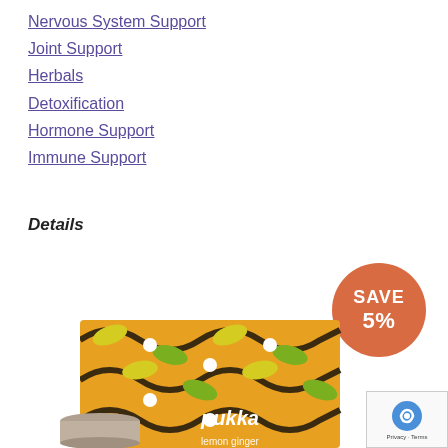Nervous System Support
Joint Support
Herbals
Detoxification
Hormone Support
Immune Support
Details
[Figure (photo): Pukka lemon ginger tea box product photo with orange 'SAVE 5%' circular badge overlay, and reCAPTCHA logo in bottom right corner.]